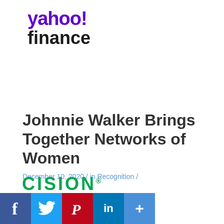[Figure (logo): Yahoo Finance logo with 'yahoo!' in purple and 'finance' in dark/black bold text]
Johnnie Walker Brings Together Networks of Women
December 10, 2020 / in Recognition /
[Figure (logo): Cision logo in green bold uppercase letters with registered trademark symbol]
[Figure (infographic): Social media sharing buttons row: Facebook (blue), Twitter (light blue), Pinterest (red), LinkedIn (blue), More/Plus (blue)]